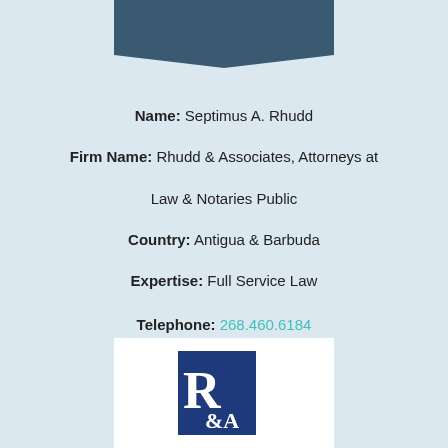[Figure (illustration): Partial silhouette of a person's head and shoulders in dark blue-grey, cropped at top of page]
Name: Septimus A. Rhudd
Firm Name: Rhudd & Associates, Attorneys at Law & Notaries Public
Country: Antigua & Barbuda
Expertise: Full Service Law
Telephone: 268.460.6184
Fax: 268.460.6183
Email: legal@rhuddlawfirm.com
[Figure (logo): Rhudd & Associates logo: blue square with white R&A letters]